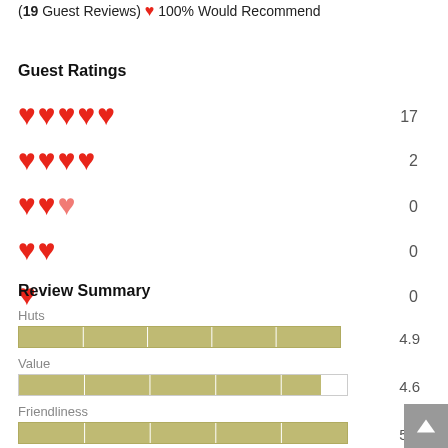(19 Guest Reviews) ❤ 100% Would Recommend
Guest Ratings
[Figure (infographic): Star/heart rating distribution: 5 hearts=17, 4 hearts=2, 3 hearts=0, 2 hearts=0, 1 heart=0]
Review Summary
[Figure (bar-chart): Review Summary]